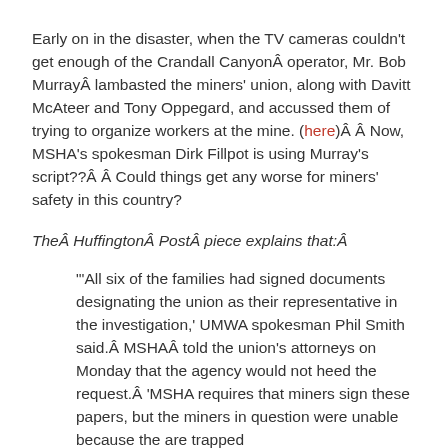Early on in the disaster, when the TV cameras couldn't get enough of the Crandall CanyonÂ operator, Mr. Bob MurrayÂ lambasted the miners' union, along with Davitt McAteer and Tony Oppegard, and accussed them of trying to organize workers at the mine. (here)Â Â  Now, MSHA's spokesman Dirk Fillpot is using Murray's script??Â Â  Could things get any worse for miners' safety in this country?
TheÂ HuffingtonÂ PostÂ piece explains that:Â
"'All six of the families had signed documents designating the union as their representative in the investigation,' UMWA spokesman Phil Smith said.Â MSHAÂ told the union's attorneys on Monday that the agency would not heed the request.Â  'MSHA requires that miners sign these papers, but the miners in question were unable because the are trapped